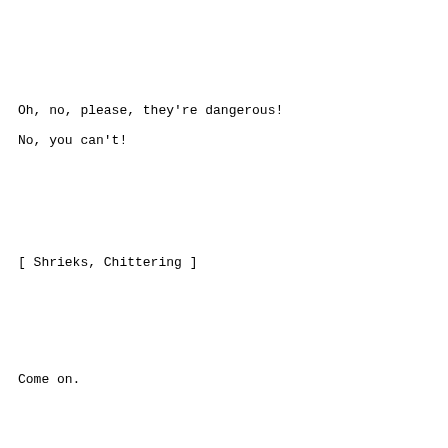Oh, no, please, they're dangerous!
No, you can't!
[ Shrieks, Chittering ]
Come on.